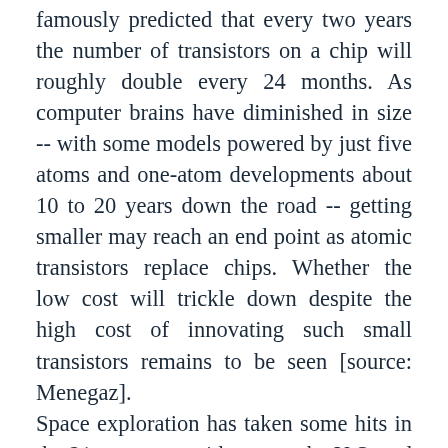famously predicted that every two years the number of transistors on a chip will roughly double every 24 months. As computer brains have diminished in size -- with some models powered by just five atoms and one-atom developments about 10 to 20 years down the road -- getting smaller may reach an end point as atomic transistors replace chips. Whether the low cost will trickle down despite the high cost of innovating such small transistors remains to be seen [source: Menegaz].
Space exploration has taken some hits in the 21st century, with cuts to the U.S. and other international space program budgets. But with the Curiosity Rover on Mars as of August 2012 and plans to launch the "most powerful rocket in history," the Space Launch System (SLS) by 2017, NASA is still very much in the business of the future. After the planned, unmanned...